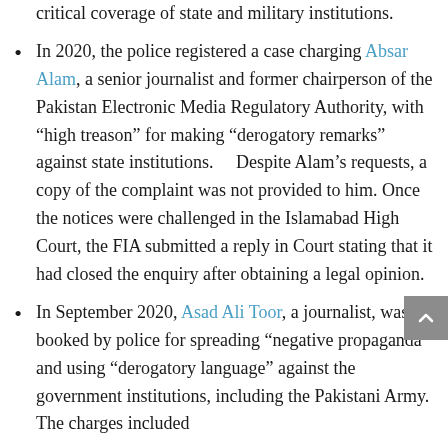critical coverage of state and military institutions.
In 2020, the police registered a case charging Absar Alam, a senior journalist and former chairperson of the Pakistan Electronic Media Regulatory Authority, with “high treason” for making “derogatory remarks” against state institutions.    Despite Alam’s requests, a copy of the complaint was not provided to him. Once the notices were challenged in the Islamabad High Court, the FIA submitted a reply in Court stating that it had closed the enquiry after obtaining a legal opinion.
In September 2020, Asad Ali Toor, a journalist, was booked by police for spreading “negative propaganda” and using “derogatory language” against the government institutions, including the Pakistani Army. The charges included